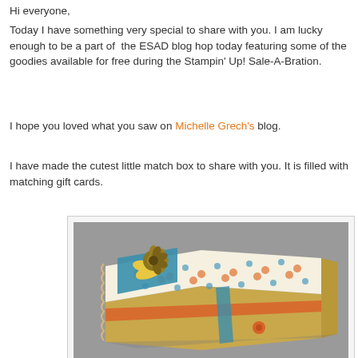Hi everyone,
Today I have something very special to share with you. I am lucky enough to be a part of the ESAD blog hop today featuring some of the goodies available for free during the Stampin' Up! Sale-A-Bration.
I hope you loved what you saw on Michelle Grech's blog.
I have made the cutest little match box to share with you. It is filled with matching gift cards.
[Figure (photo): A handmade decorative match box covered in polka dot patterned paper (blue, orange, white), decorated with a teal ribbon, an orange ribbon, a gold paper flower, and scalloped edges. The box sits on a grey surface.]